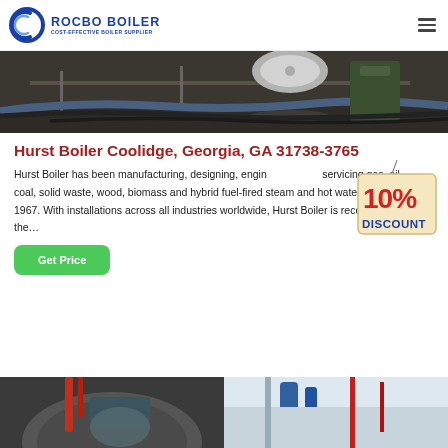ROCBO BOILER — COST-EFFECTIVE BOILER SUPPLIER
[Figure (photo): Industrial boiler welding/manufacturing scene, dark workshop with machinery and workers]
Hurst Boiler Coolidge, Georgia, GA 31738-3765
[Figure (illustration): 10% DISCOUNT badge/tag hanging graphic]
Hurst Boiler has been manufacturing, designing, engineering, and servicing gas, oil, coal, solid waste, wood, biomass and hybrid fuel-fired steam and hot water boilers since 1967. With installations across all industries worldwide, Hurst Boiler is recognized for the...
[Figure (photo): Bottom strip showing two industrial boiler equipment photos side by side]